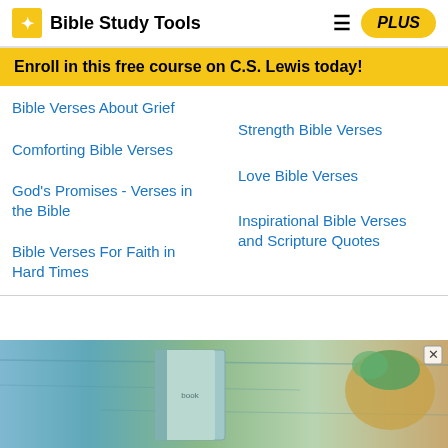Bible Study Tools | PLUS
Enroll in this free course on C.S. Lewis today!
Bible Verses About Grief
Strength Bible Verses
Comforting Bible Verses
Love Bible Verses
God's Promises - Verses in the Bible
Inspirational Bible Verses and Scripture Quotes
Bible Verses For Faith in Hard Times
[Figure (photo): Advertisement image showing books and plants on a wooden surface with an X close button]